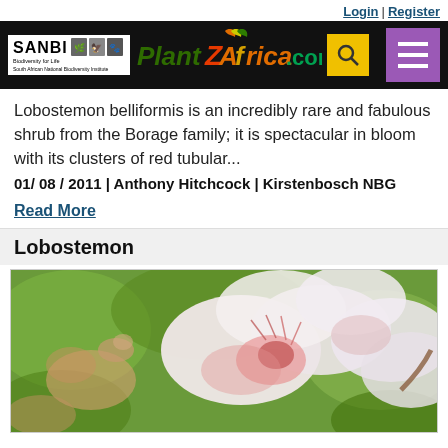Login | Register
[Figure (logo): SANBI and PlantZAfrica.com navigation header with search and menu buttons]
Lobostemon belliformis is an incredibly rare and fabulous shrub from the Borage family; it is spectacular in bloom with its clusters of red tubular...
01/ 08 / 2011 | Anthony Hitchcock | Kirstenbosch NBG
Read More
Lobostemon
[Figure (photo): Close-up photograph of Lobostemon flowers with white and pink petals against a green background]